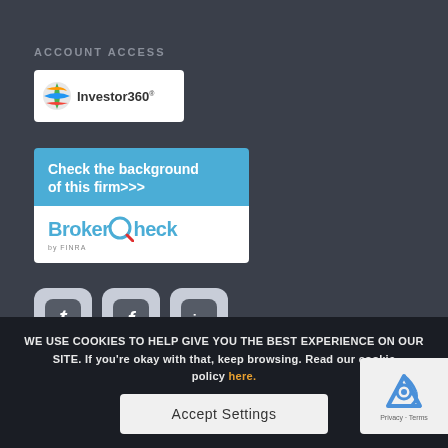ACCOUNT ACCESS
[Figure (logo): Investor360 logo with globe icon on white rounded rectangle background]
[Figure (infographic): BrokerCheck by FINRA banner - blue top section with text 'Check the background of this firm>>>' and white bottom section with BrokerCheck logo]
[Figure (infographic): Social media icons: Twitter (t), Facebook (f), LinkedIn (in) - rounded square gray buttons]
WE USE COOKIES TO HELP GIVE YOU THE BEST EXPERIENCE ON OUR SITE. If you're okay with that, keep browsing. Read our cookie policy here.
Form CRS: Client Relationship Summary
Accept Settings